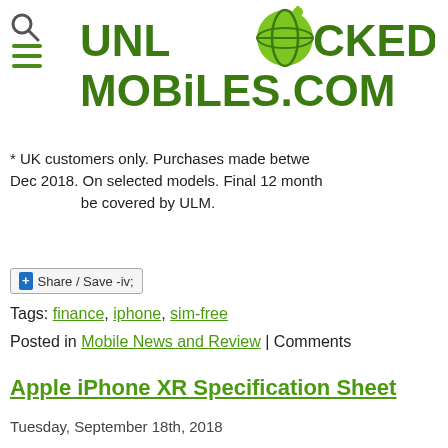[Figure (logo): UnlockedMobiles.com logo with search and hamburger menu icons on the left]
* UK customers only. Purchases made between Dec 2018. On selected models. Final 12 month be covered by ULM.
Share / Save
Tags: finance, iphone, sim-free
Posted in Mobile News and Review | Comments
Apple iPhone XR Specification Sheet
Tuesday, September 18th, 2018